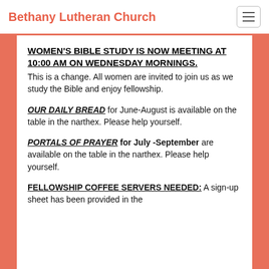Bethany Lutheran Church
WOMEN'S BIBLE STUDY IS NOW MEETING AT 10:00 AM ON WEDNESDAY MORNINGS.
This is a change. All women are invited to join us as we study the Bible and enjoy fellowship.
OUR DAILY BREAD for June-August is available on the table in the narthex. Please help yourself.
PORTALS OF PRAYER for July -September are available on the table in the narthex. Please help yourself.
FELLOWSHIP COFFEE SERVERS NEEDED: A sign-up sheet has been provided in the